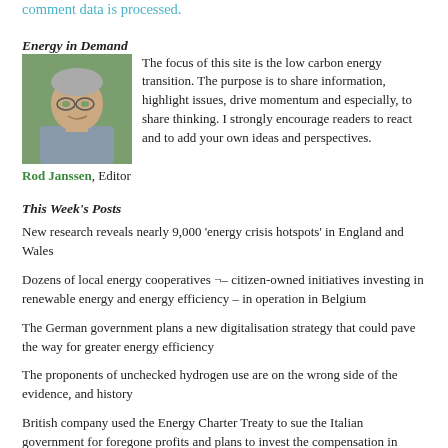comment data is processed.
Energy in Demand
[Figure (photo): Headshot photo of Rod Janssen, a man with glasses and grey hair wearing a striped shirt, outdoors with green background]
The focus of this site is the low carbon energy transition. The purpose is to share information, highlight issues, drive momentum and especially, to share thinking. I strongly encourage readers to react and to add your own ideas and perspectives.
Rod Janssen, Editor
This Week's Posts
New research reveals nearly 9,000 'energy crisis hotspots' in England and Wales
Dozens of local energy cooperatives ¬– citizen-owned initiatives investing in renewable energy and energy efficiency – in operation in Belgium
The German government plans a new digitalisation strategy that could pave the way for greater energy efficiency
The proponents of unchecked hydrogen use are on the wrong side of the evidence, and history
British company used the Energy Charter Treaty to sue the Italian government for foregone profits and plans to invest the compensation in further drilling